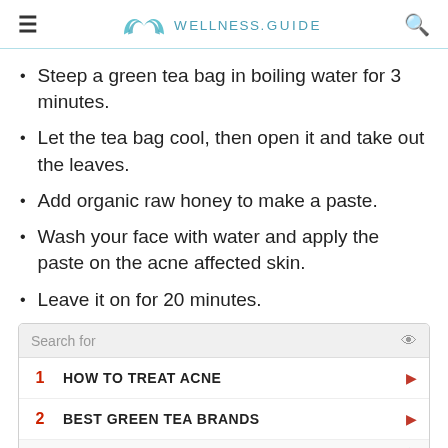WELLNESS.GUIDE
Steep a green tea bag in boiling water for 3 minutes.
Let the tea bag cool, then open it and take out the leaves.
Add organic raw honey to make a paste.
Wash your face with water and apply the paste on the acne affected skin.
Leave it on for 20 minutes.
[Figure (other): Advertisement box with search bar reading 'Search for', two sponsored results: 1. HOW TO TREAT ACNE, 2. BEST GREEN TEA BRANDS]